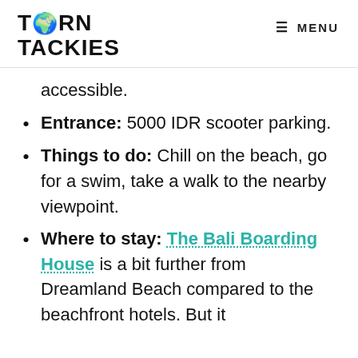TORN TACKIES   MENU
accessible.
Entrance: 5000 IDR scooter parking.
Things to do: Chill on the beach, go for a swim, take a walk to the nearby viewpoint.
Where to stay: The Bali Boarding House is a bit further from Dreamland Beach compared to the beachfront hotels. But it